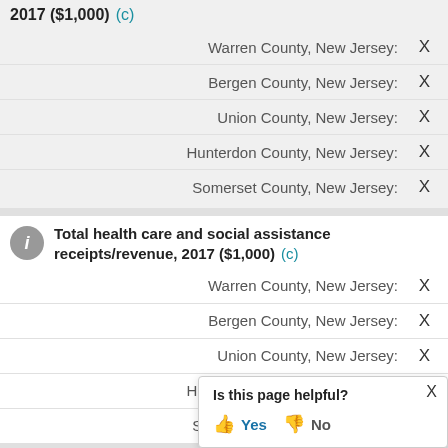2017 ($1,000)   (c)
| County | Value |
| --- | --- |
| Warren County, New Jersey: | X |
| Bergen County, New Jersey: | X |
| Union County, New Jersey: | X |
| Hunterdon County, New Jersey: | X |
| Somerset County, New Jersey: | X |
Total health care and social assistance receipts/revenue, 2017 ($1,000)   (c)
| County | Value |
| --- | --- |
| Warren County, New Jersey: | X |
| Bergen County, New Jersey: | X |
| Union County, New Jersey: | X |
| Hunterdon County, New Jersey: | X |
| Somerset County, New Jersey: | X |
Total transportation and warehousing receipts/revenue, 2017 ($1,000)
Is this page helpful? Yes No